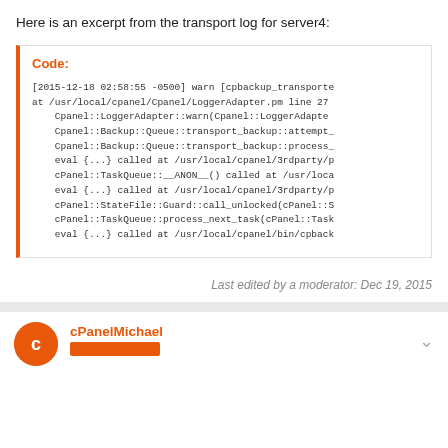Here is an excerpt from the transport log for server4:
[Figure (other): Code block with orange left border showing transport log excerpt with stack trace lines starting with [2015-12-18 02:58:55 -0500] warn [cpbackup_transporte...]
Last edited by a moderator: Dec 19, 2015
cPanelMichael